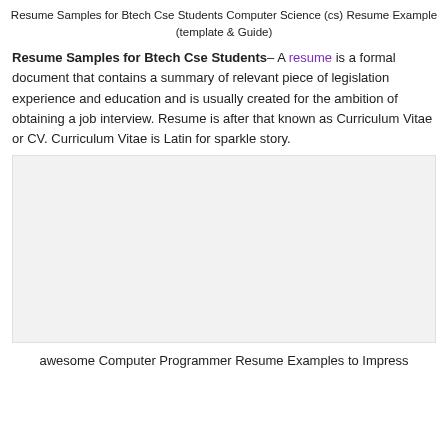Resume Samples for Btech Cse Students Computer Science (cs) Resume Example (template & Guide)
Resume Samples for Btech Cse Students– A resume is a formal document that contains a summary of relevant piece of legislation experience and education and is usually created for the ambition of obtaining a job interview. Resume is after that known as Curriculum Vitae or CV. Curriculum Vitae is Latin for sparkle story.
[Figure (photo): Light gray placeholder image area representing a resume sample or illustration]
awesome Computer Programmer Resume Examples to Impress